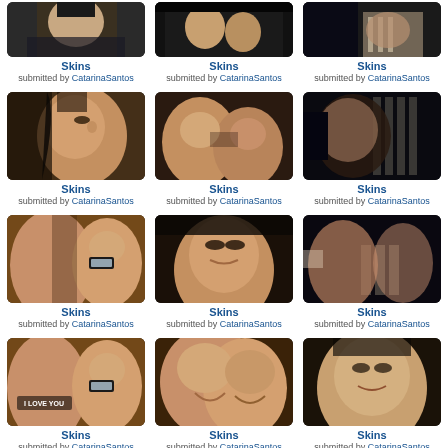[Figure (photo): Partial thumbnail of Skins show image - top row item 1]
Skins
submitted by CatarinaSantos
[Figure (photo): Partial thumbnail of Skins show image - top row item 2]
Skins
submitted by CatarinaSantos
[Figure (photo): Partial thumbnail of Skins show image - top row item 3]
Skins
submitted by CatarinaSantos
[Figure (photo): Thumbnail row 2 item 1 - close up face with dark hair]
Skins
submitted by CatarinaSantos
[Figure (photo): Thumbnail row 2 item 2 - two people about to kiss]
Skins
submitted by CatarinaSantos
[Figure (photo): Thumbnail row 2 item 3 - dark scene with blinds]
Skins
submitted by CatarinaSantos
[Figure (photo): Thumbnail row 3 item 1 - two faces with glasses]
Skins
submitted by CatarinaSantos
[Figure (photo): Thumbnail row 3 item 2 - boy looking down]
Skins
submitted by CatarinaSantos
[Figure (photo): Thumbnail row 3 item 3 - two people close together]
Skins
submitted by CatarinaSantos
[Figure (photo): Thumbnail row 4 item 1 - I LOVE YOU text with faces]
Skins
submitted by CatarinaSantos
[Figure (photo): Thumbnail row 4 item 2 - two faces close together]
Skins
submitted by CatarinaSantos
[Figure (photo): Thumbnail row 4 item 3 - person with brown hair]
Skins
submitted by CatarinaSantos
[Figure (photo): Partial thumbnail row 5 item 1]
[Figure (photo): Partial thumbnail row 5 item 2]
[Figure (photo): Partial thumbnail row 5 item 3]